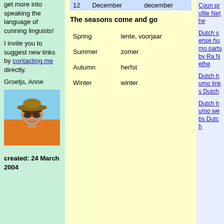get more into speaking the language of cunning linguists!
I invite you to suggest new links by contacting me directly.
Groetjs, Anne
[Figure (photo): Photo of a woman wearing a wide-brim hat and sunglasses, smiling, in an orange top with a blue sky background]
created: 24 March 2004
| 12 | December | december |
The seasons come and go
| Spring | lente, voorjaar |
| Summer | zomer |
| Autumn | herfst |
| Winter | winter |